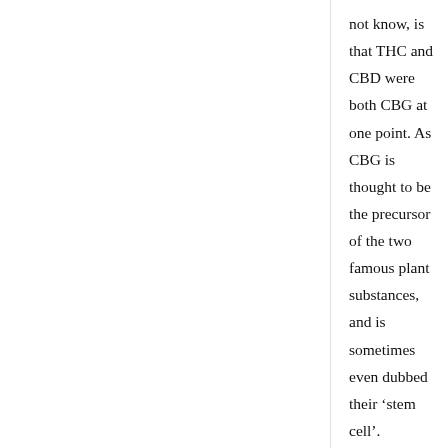not know, is that THC and CBD were both CBG at one point. As CBG is thought to be the precursor of the two famous plant substances, and is sometimes even dubbed their ‘stem cell’.
As a result, this means CBG is more present in plants that are harvested early; rather than late-harvested hemp plants. As the cannabigerol (CBG) and cannabigerol-acid (CBG-a) are slowly converted into THC or CBD during the last weeks of the flowering phase – depending on